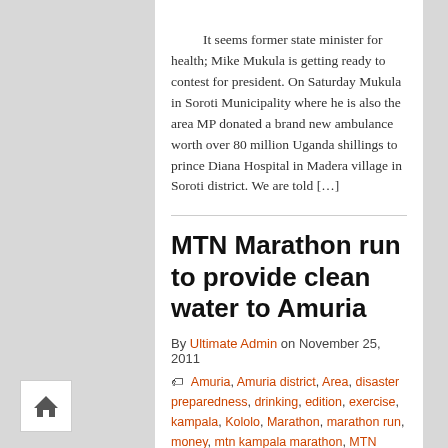It seems former state minister for health; Mike Mukula is getting ready to contest for president. On Saturday Mukula in Soroti Municipality where he is also the area MP donated a brand new ambulance worth over 80 million Uganda shillings to prince Diana Hospital in Madera village in Soroti district. We are told […]
MTN Marathon run to provide clean water to Amuria
By Ultimate Admin on November 25, 2011
Amuria, Amuria district, Area, disaster preparedness, drinking, edition, exercise, kampala, Kololo, Marathon, marathon run, money, mtn kampala marathon, MTN Marathon, Musa Ecweru, ninth edition, November, run, safe drinking water, state minister, water aid, water area, water projects
Business & Finance, Business news, Latest Uganda